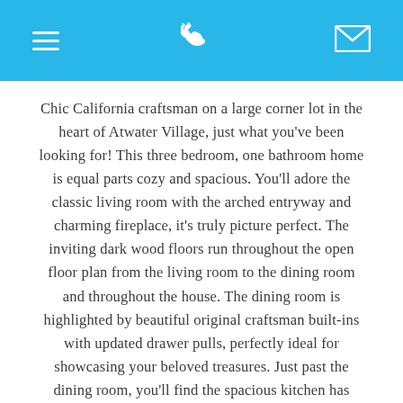[Navigation bar with menu, phone, and email icons]
Chic California craftsman on a large corner lot in the heart of Atwater Village, just what you've been looking for! This three bedroom, one bathroom home is equal parts cozy and spacious. You'll adore the classic living room with the arched entryway and charming fireplace, it's truly picture perfect. The inviting dark wood floors run throughout the open floor plan from the living room to the dining room and throughout the house. The dining room is highlighted by beautiful original craftsman built-ins with updated drawer pulls, perfectly ideal for showcasing your beloved treasures. Just past the dining room, you'll find the spacious kitchen has plenty of storage and is flooded with light from the window that peers out into the yard. Two of the bedrooms are large with plenty of closet space, the third is on the smaller side and may be best suited for a home